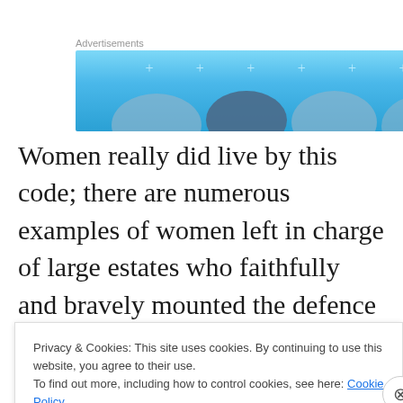[Figure (other): Advertisement banner with blue gradient background, decorative arcs and dots]
Women really did live by this code; there are numerous examples of women left in charge of large estates who faithfully and bravely mounted the defence of those estates against the enemies of their house, and were praised for it by chroniclers of the time. Medieval people
Privacy & Cookies: This site uses cookies. By continuing to use this website, you agree to their use.
To find out more, including how to control cookies, see here: Cookie Policy
Close and accept